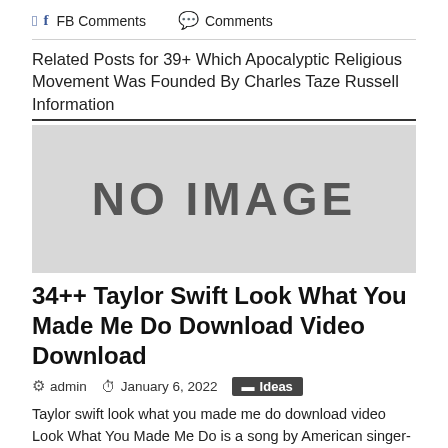FB Comments   Comments
Related Posts for 39+ Which Apocalyptic Religious Movement Was Founded By Charles Taze Russell Information
[Figure (other): Placeholder image with grey background and bold text reading NO IMAGE]
34++ Taylor Swift Look What You Made Me Do Download Video Download
admin   January 6, 2022   Ideas
Taylor swift look what you made me do download video Look What You Made Me Do is a song by American singer-songwriter Taylor Swift from her sixth studio album Reputation 2017. Taylor swift look what you made me do download video. Big Machine Label Group.